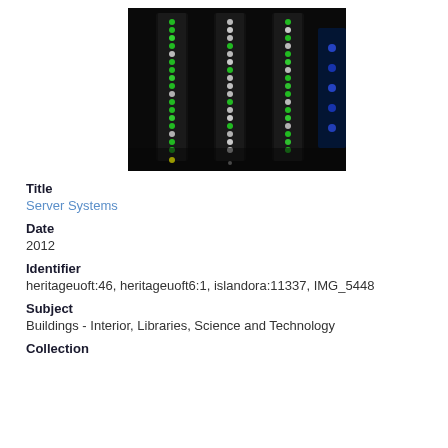[Figure (photo): Photo of server rack systems with green and white LED lights in a dark data center environment]
Title
Server Systems
Date
2012
Identifier
heritageuoft:46, heritageuoft6:1, islandora:11337, IMG_5448
Subject
Buildings - Interior, Libraries, Science and Technology
Collection